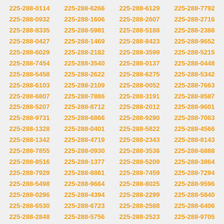225-288-0114 225-288-6266 225-288-6129 225-288-7792 225-288-0932 225-288-1606 225-288-2607 225-288-2716 225-288-8335 225-288-5981 225-288-5188 225-288-2388 225-288-0427 225-288-1469 225-288-8423 225-288-9652 225-288-6029 225-288-2182 225-288-3599 225-288-5215 225-288-7454 225-288-3540 225-288-0137 225-288-0448 225-288-5458 225-288-2622 225-288-6275 225-288-5342 225-288-6103 225-288-2109 225-288-0052 225-288-7663 225-288-6807 225-288-7886 225-288-3191 225-288-8587 225-288-5207 225-288-8712 225-288-2012 225-288-9601 225-288-9731 225-288-6866 225-288-9290 225-288-7063 225-288-1328 225-288-0401 225-288-5822 225-288-4566 225-288-1342 225-288-4719 225-288-2343 225-288-8143 225-288-7855 225-288-0930 225-288-3536 225-288-6888 225-288-8516 225-288-1377 225-288-5209 225-288-3864 225-288-7929 225-288-8861 225-288-7459 225-288-7294 225-288-5498 225-288-9664 225-288-8025 225-288-9596 225-288-0296 225-288-4394 225-288-2299 225-288-5840 225-288-6530 225-288-6723 225-288-2588 225-288-6406 225-288-2848 225-288-5756 225-288-2523 225-288-9705 225-288-2800 225-288-5504 225-288-8741 225-288-6621 225-288-5807 225-288-3865 225-288-1648 225-288-3682 225-288-7911 225-288-0940 225-288-7839 225-288-3365 225-288-9464 225-288-9815 225-288-2033 225-288-9923 225-288-3992 225-288-5123 225-288-5950 225-288-2691 225-288-2146 225-288-7368 225-288-5146 225-288-5546 225-288-9031 225-288-7271 225-288-4925 225-288-4928 225-288-1810 225-288-3578 225-288-1403 225-288-3918 225-288-7117 225-288-1345 225-288-8717 225-288-1816 225-288-3738 225-288-8484 225-288-4206 225-288-9310